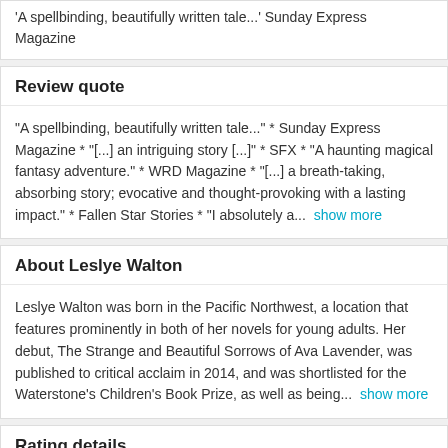'A spellbinding, beautifully written tale...' Sunday Express Magazine
Review quote
"A spellbinding, beautifully written tale..." * Sunday Express Magazine * "[...] an intriguing story [...]" * SFX * "A haunting magical fantasy adventure." * WRD Magazine * "[...] a breath-taking, absorbing story; evocative and thought-provoking with a lasting impact." * Fallen Star Stories * "I absolutely a...  show more
About Leslye Walton
Leslye Walton was born in the Pacific Northwest, a location that features prominently in both of her novels for young adults. Her debut, The Strange and Beautiful Sorrows of Ava Lavender, was published to critical acclaim in 2014, and was shortlisted for the Waterstone's Children's Book Prize, as well as being...  show more
Rating details
4,551 ratings
3.35 out of 5 stars